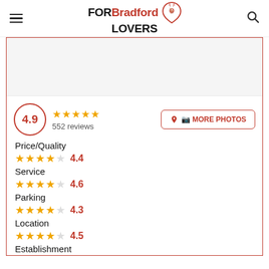FOR Bradford LOVERS
[Figure (other): White empty photo area placeholder]
4.9 ★★★★★ 552 reviews
📷 MORE PHOTOS
Price/Quality ★★★★½ 4.4
Service ★★★★½ 4.6
Parking ★★★★½ 4.3
Location ★★★★½ 4.5